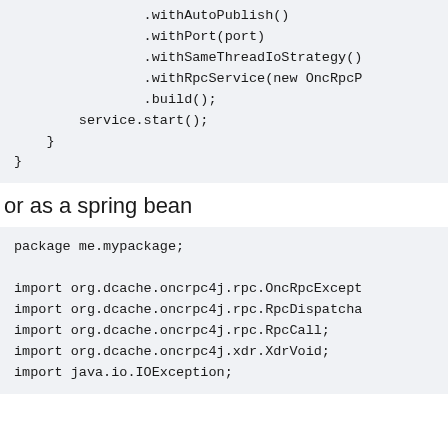.withAutoPublish()
                .withPort(port)
                .withSameThreadIoStrategy()
                .withRpcService(new OncRpcP
                .build();
        service.start();
    }
}
or as a spring bean
package me.mypackage;

import org.dcache.oncrpc4j.rpc.OncRpcExcept
import org.dcache.oncrpc4j.rpc.RpcDispatcha
import org.dcache.oncrpc4j.rpc.RpcCall;
import org.dcache.oncrpc4j.xdr.XdrVoid;
import java.io.IOException;